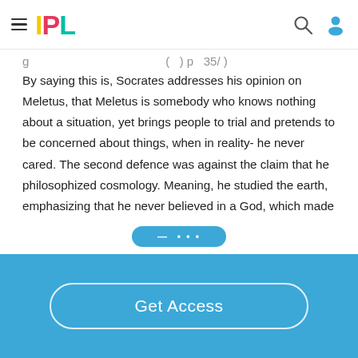IPL
By saying this is, Socrates addresses his opinion on Meletus, that Meletus is somebody who knows nothing about a situation, yet brings people to trial and pretends to be concerned about things, when in reality- he never cared. The second defence was against the claim that he philosophized cosmology. Meaning, he studied the earth, emphasizing that he never believed in a God, which made him look as if he lacked impiety. Socrates defence against this was, “You aren’t all convincing, Meletus, not even, it seems to me, to yourself.…
Get Access